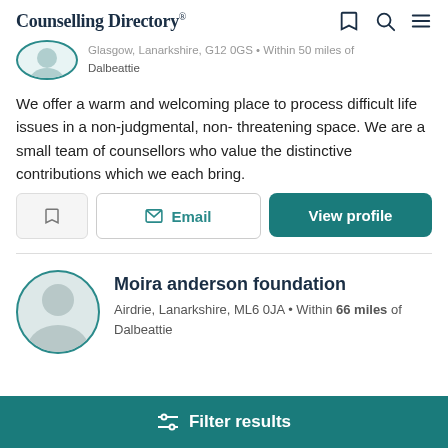Counselling Directory
Glasgow, Lanarkshire, G12 0GS • Within 50 miles of Dalbeattie
We offer a warm and welcoming place to process difficult life issues in a non-judgmental, non- threatening space. We are a small team of counsellors who value the distinctive contributions which we each bring.
Moira anderson foundation
Airdrie, Lanarkshire, ML6 0JA • Within 66 miles of Dalbeattie
Filter results